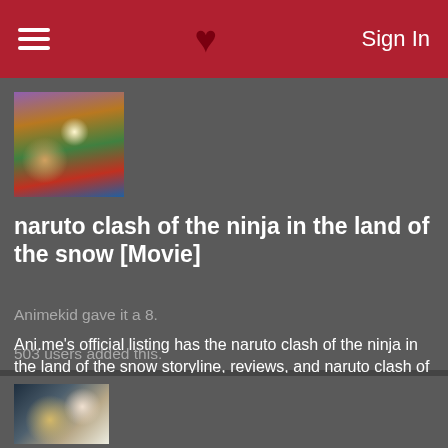Sign In
[Figure (photo): Naruto movie poster thumbnail showing anime characters with colorful background]
naruto clash of the ninja in the land of the snow [Movie]
Animekid gave it a 8.
Ani.me's official listing has the naruto clash of the ninja in the land of the snow storyline, reviews, and naruto clash of the ninja in the land of the snow pictures that you need. Get to know everything about this Movie show
503 users added this.
[Figure (photo): Partial anime thumbnail showing characters at bottom of page]